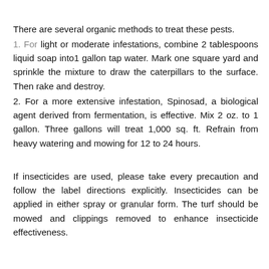There are several organic methods to treat these pests.
1. For light or moderate infestations, combine 2 tablespoons liquid soap into1 gallon tap water. Mark one square yard and sprinkle the mixture to draw the caterpillars to the surface. Then rake and destroy.
2. For a more extensive infestation, Spinosad, a biological agent derived from fermentation, is effective. Mix 2 oz. to 1 gallon. Three gallons will treat 1,000 sq. ft. Refrain from heavy watering and mowing for 12 to 24 hours.
If insecticides are used, please take every precaution and follow the label directions explicitly. Insecticides can be applied in either spray or granular form. The turf should be mowed and clippings removed to enhance insecticide effectiveness.